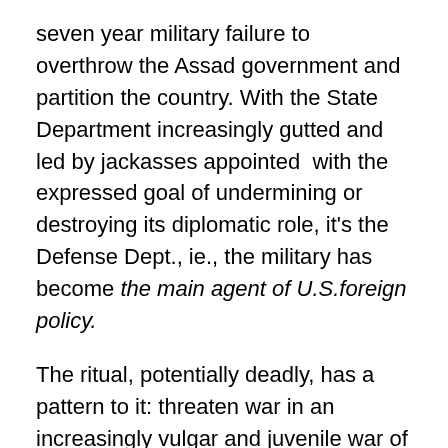seven year military failure to overthrow the Assad government and partition the country. With the State Department increasingly gutted and led by jackasses appointed  with the expressed goal of undermining or destroying its diplomatic role, it's the Defense Dept., ie., the military has become the main agent of U.S.foreign policy.
The ritual, potentially deadly, has a pattern to it: threaten war in an increasingly vulgar and juvenile war of words in a sequence resembling an exchange of “pre-duel” insults in a Western shootout with Trump playing John Wayne. (which one was more stupid, less articulate?). More difficult to strike North Korea, it has nuclear weapons, easier to strike Syria, ravaged by war and with no nukes.
The pattern: threaten war as the Trumpty-Dumpty